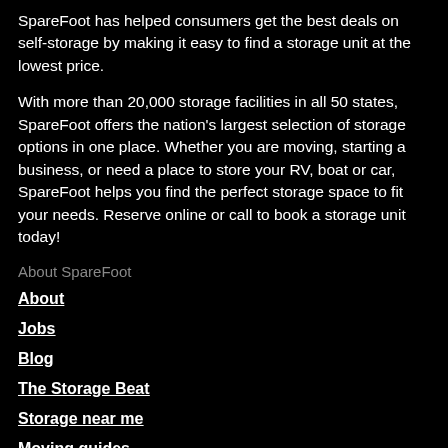SpareFoot has helped consumers get the best deals on self-storage by making it easy to find a storage unit at the lowest price.
With more than 20,000 storage facilities in all 50 states, SpareFoot offers the nation's largest selection of storage options in one place. Whether you are moving, starting a business, or need a place to store your RV, boat or car, SpareFoot helps you find the perfect storage space to fit your needs. Reserve online or call to book a storage unit today!
About SpareFoot
About
Jobs
Blog
The Storage Beat
Storage near me
Moving guides